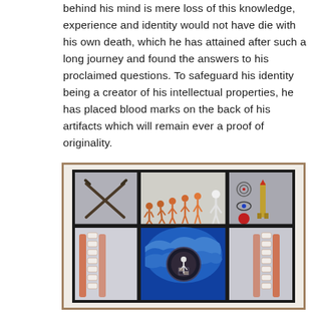behind his mind is mere loss of this knowledge, experience and identity would not have die with his own death, which he has attained after such a long journey and found the answers to his proclaimed questions. To safeguard his identity being a creator of his intellectual properties, he has placed blood marks on the back of his artifacts which will remain ever a proof of originality.
[Figure (illustration): A framed artwork composed of multiple panels: top-left shows crossed rifles on gray background; top-center shows the evolution of man sequence (from ape to upright human) in orange/red tones; top-right shows a missile/rocket and circular target symbols on gray; bottom-left shows a spine/vertebrae illustration in white and orange; bottom-center shows a large blue brain with a circular mechanical element and a human figure at center; bottom-right shows another spine/vertebrae illustration.]